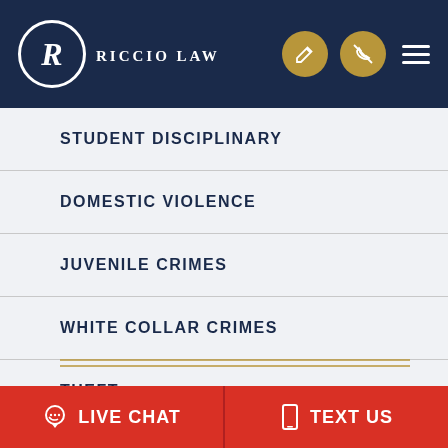[Figure (logo): Riccio Law logo with R in circle and law firm name]
STUDENT DISCIPLINARY
DOMESTIC VIOLENCE
JUVENILE CRIMES
WHITE COLLAR CRIMES
THEFT
LIVE CHAT   TEXT US